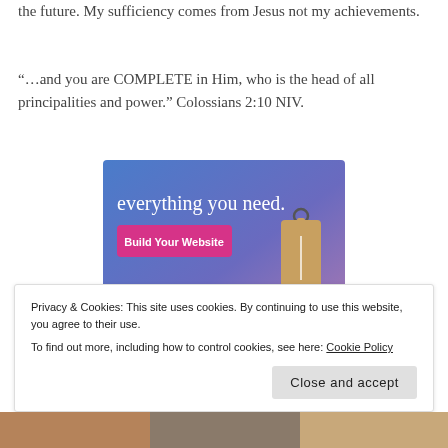the future. My sufficiency comes from Jesus not my achievements.
“…and you are COMPLETE in Him, who is the head of all principalities and power.” Colossians 2:10 NIV.
[Figure (screenshot): Advertisement banner with blue-purple gradient background showing text 'everything you need.' and a pink 'Build Your Website' button, with a tan price tag image on the right side.]
Privacy & Cookies: This site uses cookies. By continuing to use this website, you agree to their use.
To find out more, including how to control cookies, see here: Cookie Policy
[Figure (photo): Bottom strip of partial photos]